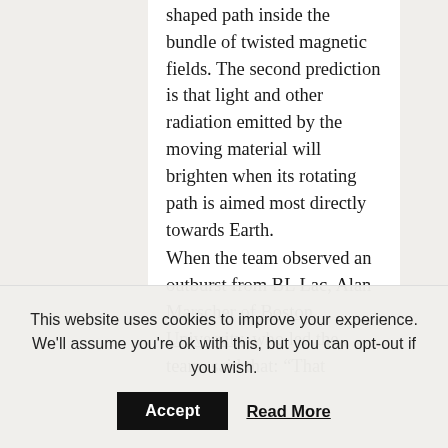shaped path inside the bundle of twisted magnetic fields. The second prediction is that light and other radiation emitted by the moving material will brighten when its rotating path is aimed most directly towards Earth.

When the team observed an outburst from BL Lac, Alan Marscher of Boston University, who led the team, said that: “That behavior is exactly what we saw.” During the numerous observations, the
This website uses cookies to improve your experience. We'll assume you're ok with this, but you can opt-out if you wish.
Accept   Read More